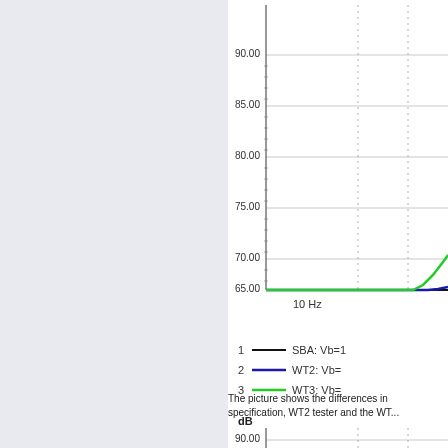[Figure (continuous-plot): Frequency response chart (dB vs Hz) showing three curves: SBA curve (black, line 1), WT2 tester curve (dark blue, line 2), WT3 curve (green, line 3). Y-axis ranges from 65.00 to 90.00 dB in steps of 5. X-axis shows 10 Hz label. Vertical dotted gridlines visible. Curves are near flat around 65 dB rising at right edge.]
[Figure (line-chart): Legend showing three series: 1 - SBA: Vb=1... (black line), 2 - WT2: Vb=... (dark blue line), 3 - WT3: Vb=... (green line)]
The picture shows the differences in specification, WT2 tester and the WT...
dB
[Figure (continuous-plot): Second frequency response chart partially visible at bottom. Y-axis shows 90.00. Dotted vertical gridlines visible.]